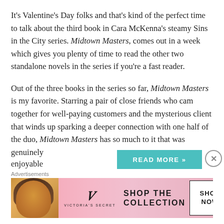It's Valentine's Day folks and that's kind of the perfect time to talk about the third book in Cara McKenna's steamy Sins in the City series. Midtown Masters, comes out in a week which gives you plenty of time to read the other two standalone novels in the series if you're a fast reader.
Out of the three books in the series so far, Midtown Masters is my favorite. Starring a pair of close friends who cam together for well-paying customers and the mysterious client that winds up sparking a deeper connection with one half of the duo, Midtown Masters has so much to it that was genuinely enjoyable
[Figure (screenshot): Advertisement banner for Victoria's Secret featuring a model, the VS logo, 'SHOP THE COLLECTION' text, and a 'SHOP NOW' button on a pink gradient background]